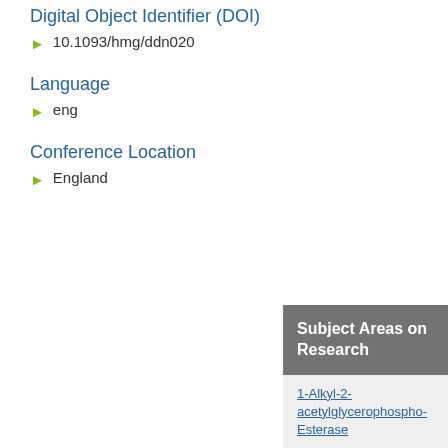Digital Object Identifier (DOI)
10.1093/hmg/ddn020
Language
eng
Conference Location
England
Subject Areas on Research
1-Alkyl-2-acetylglycerophospho... Esterase
Adults